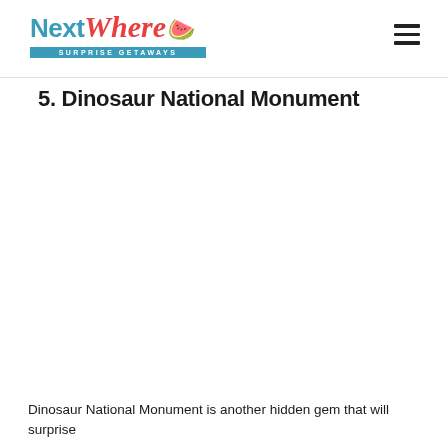NextWhere Surprise Getaways
5. Dinosaur National Monument
Dinosaur National Monument is another hidden gem that will surprise